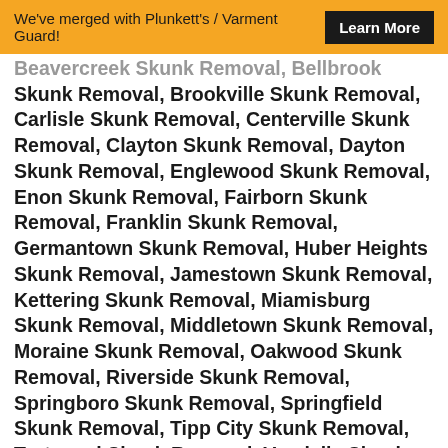We've merged with Plunkett's / Varment Guard! Learn More
Beavercreek Skunk Removal, Bellbrook Skunk Removal, Brookville Skunk Removal, Carlisle Skunk Removal, Centerville Skunk Removal, Clayton Skunk Removal, Dayton Skunk Removal, Englewood Skunk Removal, Enon Skunk Removal, Fairborn Skunk Removal, Franklin Skunk Removal, Germantown Skunk Removal, Huber Heights Skunk Removal, Jamestown Skunk Removal, Kettering Skunk Removal, Miamisburg Skunk Removal, Middletown Skunk Removal, Moraine Skunk Removal, Oakwood Skunk Removal, Riverside Skunk Removal, Springboro Skunk Removal, Springfield Skunk Removal, Tipp City Skunk Removal, Trotwood Skunk Removal, Vandalia Skunk Removal, Waynesville Skunk Removal, West Carrollton Skunk Removal, Wilmington Skunk Removal, Xenia Skunk Removal, Yellow Springs Skunk Removal.